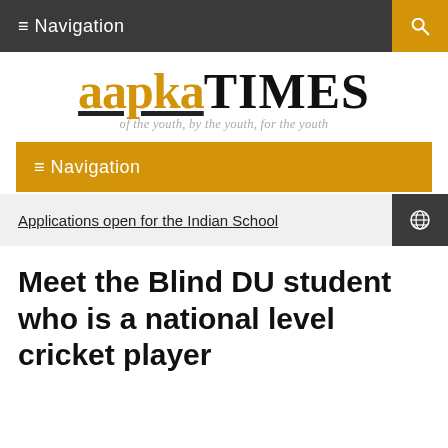≡ Navigation
[Figure (logo): Aapka Times logo with tagline 'of the youth, by the youth, for the youth']
≡ Navigation
Applications open for the Indian School
Meet the Blind DU student who is a national level cricket player